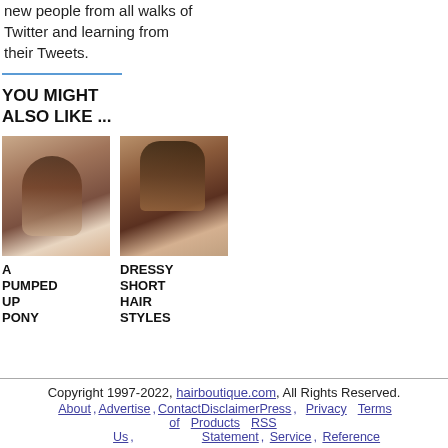new people from all walks of Twitter and learning from their Tweets.
YOU MIGHT ALSO LIKE ...
[Figure (photo): Photo of woman with ponytail hairstyle, side view]
A PUMPED UP PONY
[Figure (photo): Photo of woman with dressy short hair style]
DRESSY SHORT HAIR STYLES
Copyright 1997-2022, hairboutique.com, All Rights Reserved. About, Advertise, ContactDisclaimerPress, Privacy Terms of Products RSS Us, Statement, Service, Reference